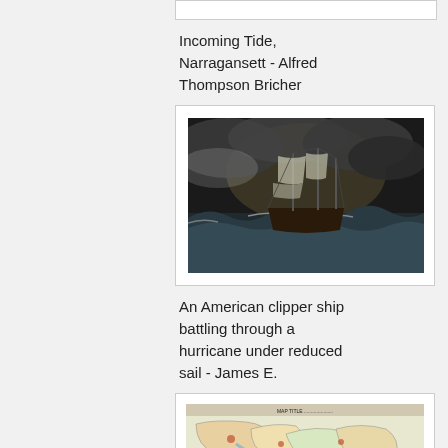[Figure (photo): Top of an image card, partially visible at top of page]
Incoming Tide, Narragansett - Alfred Thompson Bricher
[Figure (photo): Painting of an American clipper ship battling through a hurricane under reduced sail]
An American clipper ship battling through a hurricane under reduced sail - James E.
[Figure (map): Historical colored map, partially visible at bottom of page]